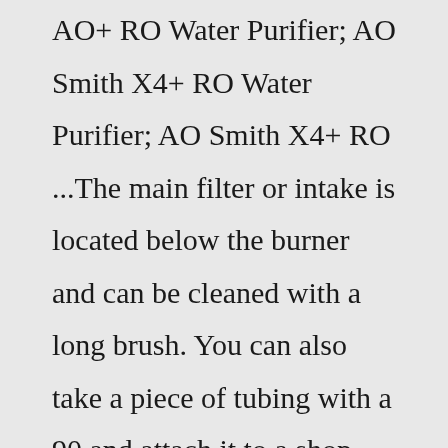AO+ RO Water Purifier; AO Smith X4+ RO Water Purifier; AO Smith X4+ RO ...The main filter or intake is located below the burner and can be cleaned with a long brush. You can also take a piece of tubing with a 90 and attach it to a shop vac. If an AO Smith water heater will not produce hot water you should first determine if it's a 100, 200, or 300 series. The most common problem is with the 100 series.Contact information T: 01252 551 540 E: